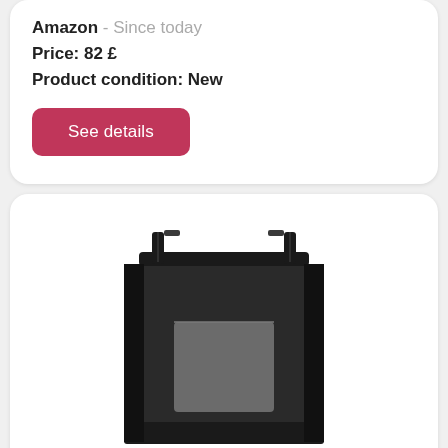Amazon - Since today
Price: 82 £
Product condition: New
See details
[Figure (photo): A black and charcoal Burley Lower Market Bag with straps, shown from a three-quarter angle view against a white background.]
Burley Lower Market Bag, Heathered Charcoal, One S